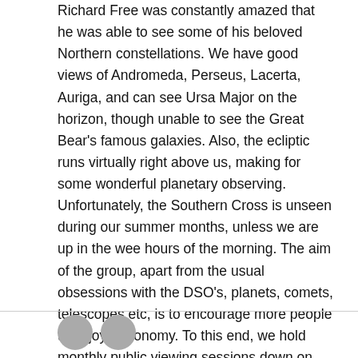Richard Free was constantly amazed that he was able to see some of his beloved Northern constellations. We have good views of Andromeda, Perseus, Lacerta, Auriga, and can see Ursa Major on the horizon, though unable to see the Great Bear's famous galaxies. Also, the ecliptic runs virtually right above us, making for some wonderful planetary observing. Unfortunately, the Southern Cross is unseen during our summer months, unless we are up in the wee hours of the morning. The aim of the group, apart from the usual obsessions with the DSO's, planets, comets, telescopes etc, is to encourage more people to enjoy astronomy. To this end, we hold monthly public viewing sessions down on The Strand, which are well attended by both the group's members and the general public.
[Figure (illustration): Two circular avatar / profile picture placeholders in grey]